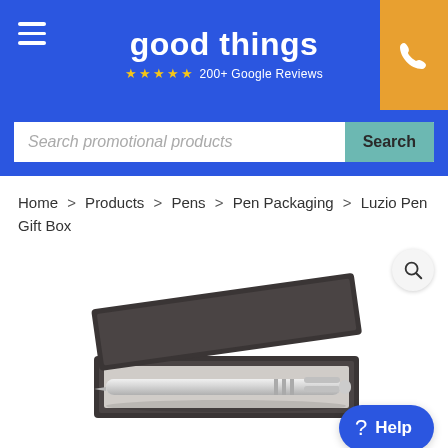good things ★★★★★ 200+ Google Reviews
Search promotional products
Home > Products > Pens > Pen Packaging > Luzio Pen Gift Box
[Figure (photo): A silver ballpoint pen resting in an open dark brown/black gift box. The box lid is partially open, leaning against the back. The pen is metallic silver with engraved detail bands.]